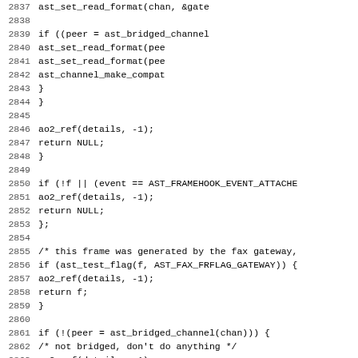[Figure (screenshot): Source code listing showing C code lines 2837-2868, monospace font, line numbers on left, code on right. Code involves AST FAX gateway channel bridging logic.]